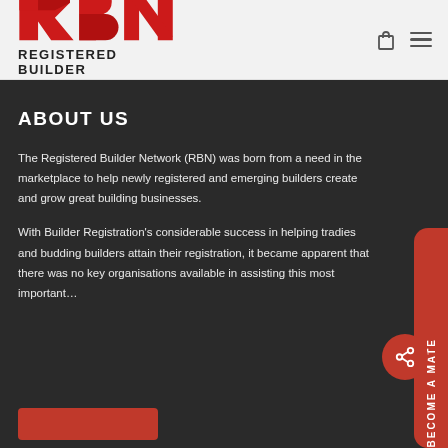[Figure (logo): RBN Registered Builder Network logo with red stylized RBN letters and text]
ABOUT US
The Registered Builder Network (RBN) was born from a need in the marketplace to help newly registered and emerging builders create and grow great building businesses.
With Builder Registration's considerable success in helping tradies and budding builders attain their registration, it became apparent that there was no key organisations available in assisting this most important...